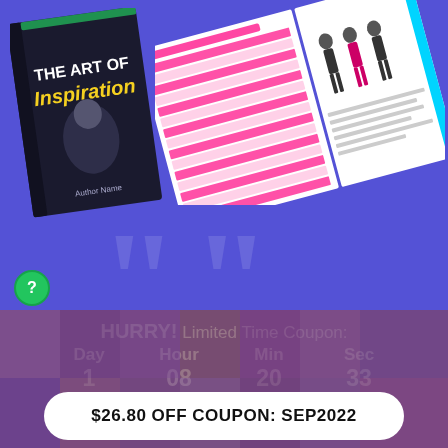[Figure (illustration): Book cover titled 'THE ART OF INSPIRATION' with yellow subtitle text, dark cover with person image, shown at an angle on a blue/purple background. Next to it are open book pages showing a table of contents with pink/magenta striped rows and a fashion figure on the right page.]
HURRY! Limited Time Coupon:
Day 1   Hour 08   Min 20   Sec 33
$26.80 OFF COUPON: SEP2022